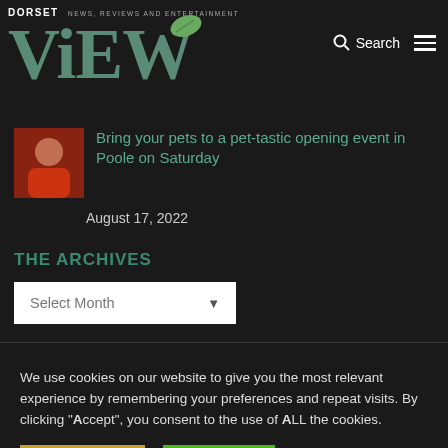DORSET ViEW — NEWS, REVIEWS AND ENTERTAINMENT
Bring your pets to a pet-tastic opening event in Poole on Saturday
August 17, 2022
THE ARCHIVES
Select Month
We use cookies on our website to give you the most relevant experience by remembering your preferences and repeat visits. By clicking "Accept", you consent to the use of ALL the cookies.